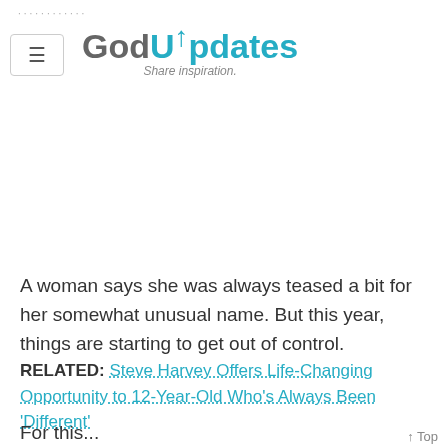GodUpdates — Share inspiration.
A woman says she was always teased a bit for her somewhat unusual name. But this year, things are starting to get out of control.
RELATED: Steve Harvey Offers Life-Changing Opportunity to 12-Year-Old Who's Always Been 'Different'
For this...